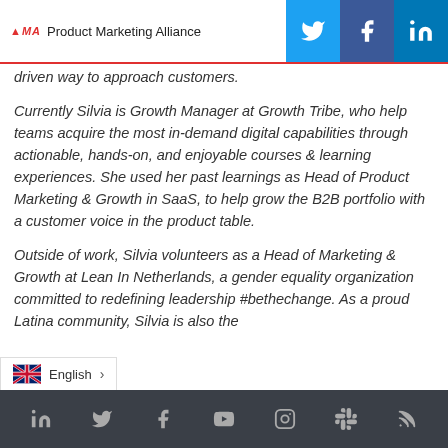Product Marketing Alliance
driven way to approach customers.
Currently Silvia is Growth Manager at Growth Tribe, who help teams acquire the most in-demand digital capabilities through actionable, hands-on, and enjoyable courses & learning experiences. She used her past learnings as Head of Product Marketing & Growth in SaaS, to help grow the B2B portfolio with a customer voice in the product table.
Outside of work, Silvia volunteers as a Head of Marketing & Growth at Lean In Netherlands, a gender equality organization committed to redefining leadership #bethechange. As a proud Latina community, Silvia is also the
Social icons: LinkedIn, Twitter, Facebook, YouTube, Instagram, Slack, RSS